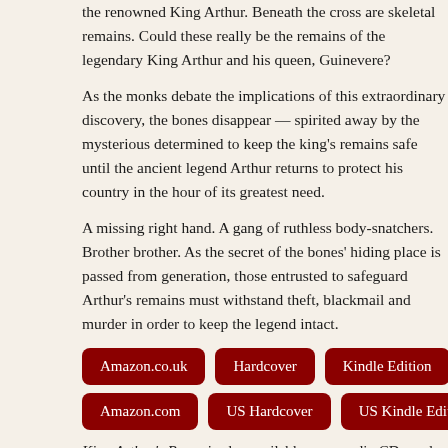the renowned King Arthur. Beneath the cross are skeletal remains. Could these really be the remains of the legendary King Arthur and his queen, Guinevere?
As the monks debate the implications of this extraordinary discovery, the bones disappear — spirited away by the mysterious determined to keep the king's remains safe until the ancient legend Arthur returns to protect his country in the hour of its greatest need.
A missing right hand. A gang of ruthless body-snatchers. Brother brother. As the secret of the bones' hiding place is passed from generation, those entrusted to safeguard Arthur's remains must withstand theft, blackmail and murder in order to keep the legend intact.
Amazon.co.uk
Hardcover
Kindle Edition
Amazon.com
US Hardcover
US Kindle Edition
King Arthur's Bones is also available as an audio CD, read by Pa ordered from either Amazon.co.uk or Whole Story Audiobooks